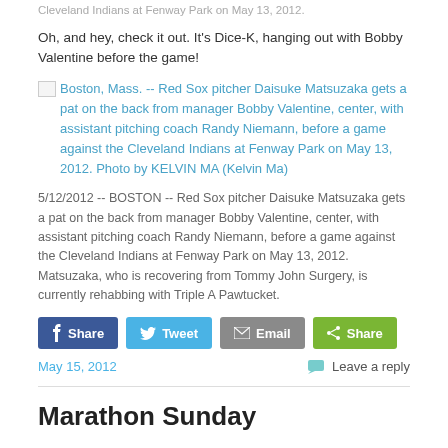Cleveland Indians at Fenway Park on May 13, 2012.
Oh, and hey, check it out. It's Dice-K, hanging out with Bobby Valentine before the game!
[Figure (photo): Broken/placeholder image with alt text: Boston, Mass. -- Red Sox pitcher Daisuke Matsuzaka gets a pat on the back from manager Bobby Valentine, center, with assistant pitching coach Randy Niemann, before a game against the Cleveland Indians at Fenway Park on May 13, 2012. Photo by KELVIN MA (Kelvin Ma)]
5/12/2012 -- BOSTON -- Red Sox pitcher Daisuke Matsuzaka gets a pat on the back from manager Bobby Valentine, center, with assistant pitching coach Randy Niemann, before a game against the Cleveland Indians at Fenway Park on May 13, 2012. Matsuzaka, who is recovering from Tommy John Surgery, is currently rehabbing with Triple A Pawtucket.
Share | Tweet | Email | Share
May 15, 2012
Leave a reply
Marathon Sunday